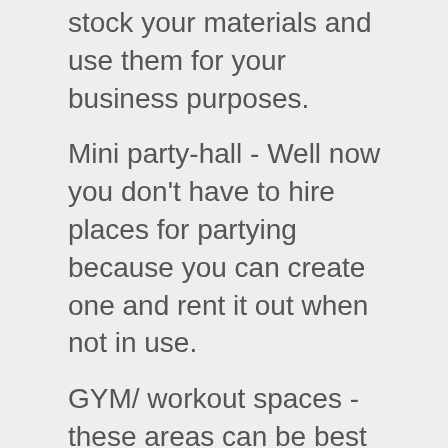Warehouse - You can also use this space to stock your materials and use them for your business purposes.
Mini party-hall - Well now you don't have to hire places for partying because you can create one and rent it out when not in use.
GYM/ workout spaces - these areas can be best suited for workouts and other related activities. One can train here as and when he/she desires.
Bathroom - Last but not the least, if you wish to have a luxury bathroom well now you can create one with the area available to you.